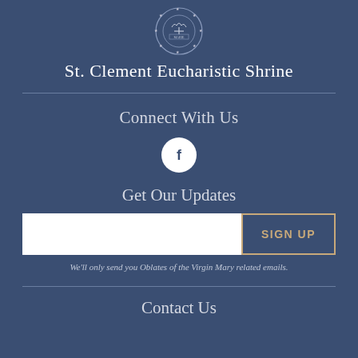[Figure (logo): Circular seal/crest logo of St. Clement Eucharistic Shrine with stars and imagery]
St. Clement Eucharistic Shrine
Connect With Us
[Figure (logo): Facebook icon in white circle]
Get Our Updates
We'll only send you Oblates of the Virgin Mary related emails.
Contact Us